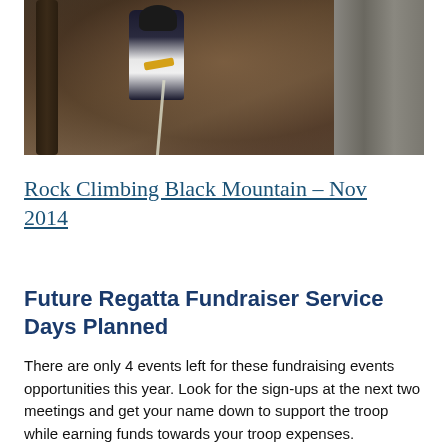[Figure (photo): A person rock climbing on Black Mountain, wearing a dark helmet and harness with a yellow element, rappelling or climbing near a tree and rocky cliff face.]
Rock Climbing Black Mountain – Nov 2014
Future Regatta Fundraiser Service Days Planned
There are only 4 events left for these fundraising events opportunities this year. Look for the sign-ups at the next two meetings and get your name down to support the troop while earning funds towards your troop expenses.